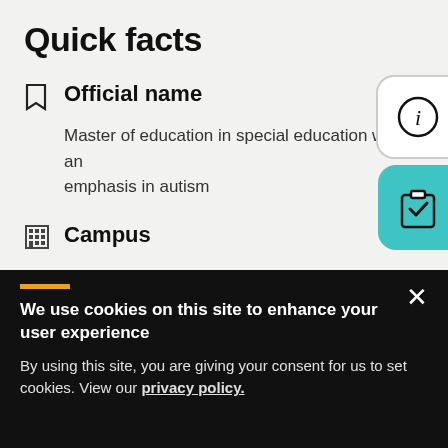Quick facts
Official name
Master of education in special education with an emphasis in autism
Campus
We use cookies on this site to enhance your user experience
By using this site, you are giving your consent for us to set cookies. View our privacy policy.